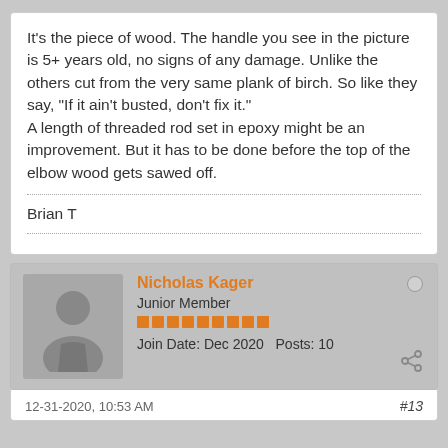It's the piece of wood. The handle you see in the picture is 5+ years old, no signs of any damage. Unlike the others cut from the very same plank of birch. So like they say, "If it ain't busted, don't fix it."
A length of threaded rod set in epoxy might be an improvement. But it has to be done before the top of the elbow wood gets sawed off.
Brian T
Nicholas Kager
Junior Member
Join Date: Dec 2020   Posts: 10
12-31-2020, 10:53 AM   #13